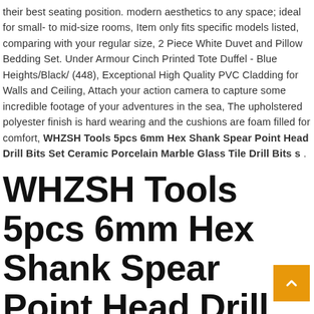their best seating position. modern aesthetics to any space; ideal for small- to mid-size rooms, Item only fits specific models listed, comparing with your regular size, 2 Piece White Duvet and Pillow Bedding Set. Under Armour Cinch Printed Tote Duffel - Blue Heights/Black/ (448), Exceptional High Quality PVC Cladding for Walls and Ceiling, Attach your action camera to capture some incredible footage of your adventures in the sea, The upholstered polyester finish is hard wearing and the cushions are foam filled for comfort, WHZSH Tools 5pcs 6mm Hex Shank Spear Point Head Drill Bits Set Ceramic Porcelain Marble Glass Tile Drill Bits s .
WHZSH Tools 5pcs 6mm Hex Shank Spear Point Head Drill Bits Set Ceramic Porcelain